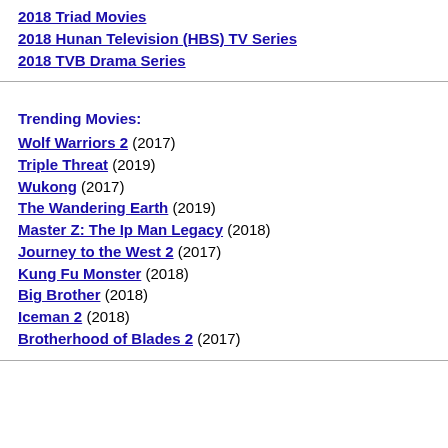2018 Triad Movies
2018 Hunan Television (HBS) TV Series
2018 TVB Drama Series
Trending Movies:
Wolf Warriors 2 (2017)
Triple Threat (2019)
Wukong (2017)
The Wandering Earth (2019)
Master Z: The Ip Man Legacy (2018)
Journey to the West 2 (2017)
Kung Fu Monster (2018)
Big Brother (2018)
Iceman 2 (2018)
Brotherhood of Blades 2 (2017)